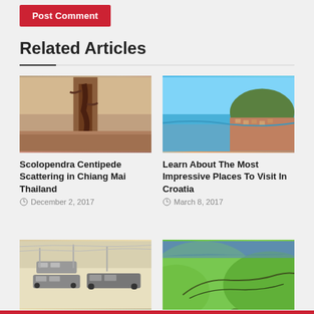Post Comment
Related Articles
[Figure (photo): Close-up photo of a Scolopendra centipede on a surface]
Scolopendra Centipede Scattering in Chiang Mai Thailand
December 2, 2017
[Figure (photo): Aerial view of a Croatian coastal town with turquoise water and red-roofed buildings]
Learn About The Most Impressive Places To Visit In Croatia
March 8, 2017
[Figure (photo): Cars loaded on transport trucks on a street]
[Figure (photo): Lush green rolling hills with a winding road]